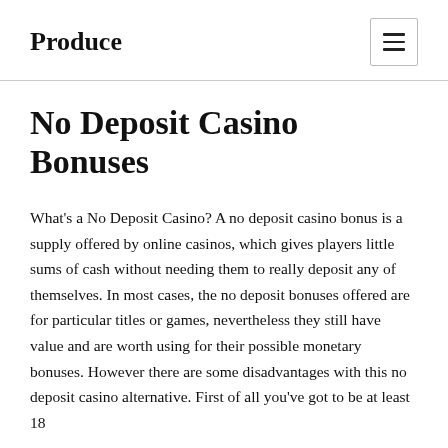Produce
No Deposit Casino Bonuses
What's a No Deposit Casino? A no deposit casino bonus is a supply offered by online casinos, which gives players little sums of cash without needing them to really deposit any of themselves. In most cases, the no deposit bonuses offered are for particular titles or games, nevertheless they still have value and are worth using for their possible monetary bonuses. However there are some disadvantages with this no deposit casino alternative. First of all you've got to be at least 18